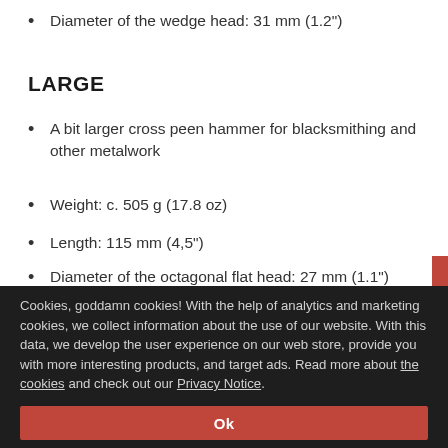Diameter of the wedge head: 31 mm (1.2")
LARGE
A bit larger cross peen hammer for blacksmithing and other metalwork
Weight: c. 505 g (17.8 oz)
Length: 115 mm (4,5")
Diameter of the octagonal flat head: 27 mm (1.1")
Cookies, goddamn cookies! With the help of analytics and marketing cookies, we collect information about the use of our website. With this data, we develop the user experience on our web store, provide you with more interesting products, and target ads. Read more about the cookies and check out our Privacy Notice.
Ok